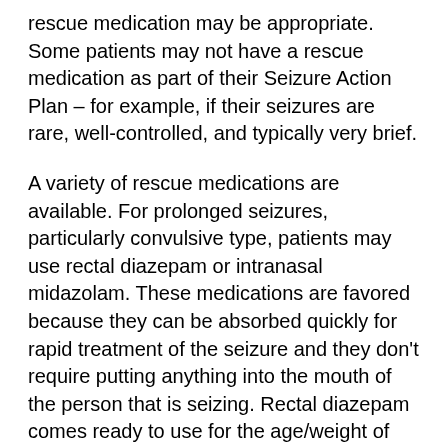rescue medication may be appropriate. Some patients may not have a rescue medication as part of their Seizure Action Plan – for example, if their seizures are rare, well-controlled, and typically very brief.
A variety of rescue medications are available. For prolonged seizures, particularly convulsive type, patients may use rectal diazepam or intranasal midazolam. These medications are favored because they can be absorbed quickly for rapid treatment of the seizure and they don't require putting anything into the mouth of the person that is seizing. Rectal diazepam comes ready to use for the age/weight of the child. Currently, nasal midazolam will have to be measured out by school staff before administration, but a new ready-to-use formulation has been approved by the FDA and should be available soon.
For patients with clusters of brief seizures, rescue medications such as clonazepam can be given by